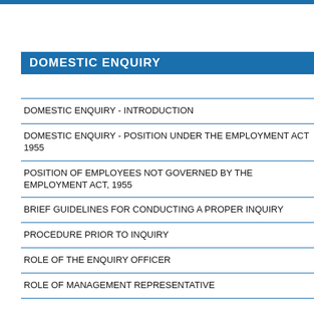DOMESTIC ENQUIRY
DOMESTIC ENQUIRY - INTRODUCTION
DOMESTIC ENQUIRY - POSITION UNDER THE EMPLOYMENT ACT 1955
POSITION OF EMPLOYEES NOT GOVERNED BY THE EMPLOYMENT ACT, 1955
BRIEF GUIDELINES FOR CONDUCTING A PROPER INQUIRY
PROCEDURE PRIOR TO INQUIRY
ROLE OF THE ENQUIRY OFFICER
ROLE OF MANAGEMENT REPRESENTATIVE